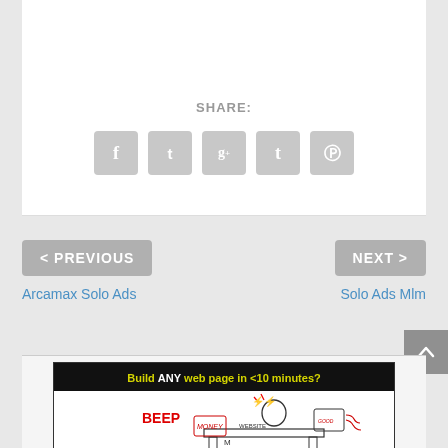SHARE:
[Figure (infographic): Social share icons: Facebook, Twitter, Google+, Tumblr, Pinterest — all in grey rounded square buttons]
< PREVIOUS
Arcamax Solo Ads
NEXT >
Solo Ads Mlm
[Figure (illustration): Advertisement banner with dark header text 'Build ANY web page in <10 minutes?' in yellow and white on black, with illustration of a stressed person at a desk surrounded by documents, beeping alerts, website and money labels]